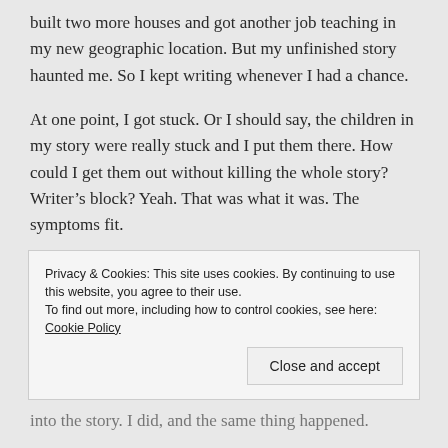built two more houses and got another job teaching in my new geographic location. But my unfinished story haunted me. So I kept writing whenever I had a chance.
At one point, I got stuck. Or I should say, the children in my story were really stuck and I put them there. How could I get them out without killing the whole story? Writer's block? Yeah. That was what it was. The symptoms fit.
Then one day, I decided I needed another character just
Privacy & Cookies: This site uses cookies. By continuing to use this website, you agree to their use.
To find out more, including how to control cookies, see here: Cookie Policy
Close and accept
into the story. I did, and the same thing happened.